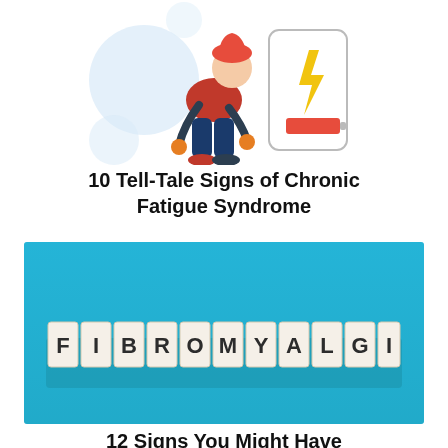[Figure (illustration): Illustration of a tired person hunched over next to a phone/device showing a lightning bolt and low battery icon, with light blue decorative circles in background]
10 Tell-Tale Signs of Chronic Fatigue Syndrome
[Figure (photo): Photo of wooden letter tiles spelling FIBROMYALGIA on a bright blue background]
12 Signs You Might Have Fibromyalgia
[Figure (illustration): Partial illustration at bottom of page showing a person's head and a medical bag/briefcase icon with light blue decorative circles]